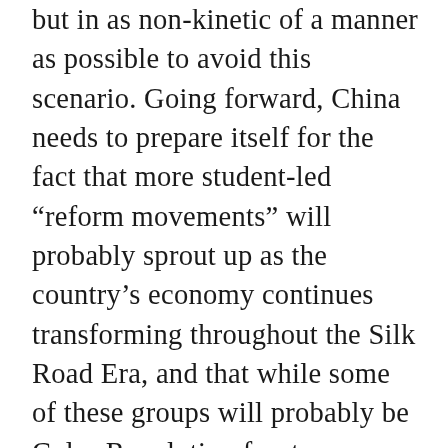but in as non-kinetic of a manner as possible to avoid this scenario. Going forward, China needs to prepare itself for the fact that more student-led “reform movements” will probably sprout up as the country’s economy continues transforming throughout the Silk Road Era, and that while some of these groups will probably be Color Revolution fronts or targets of foreign intelligence agencies, a few of them might offer some genuinely constructive ideas for reform that should be seriously pondered.